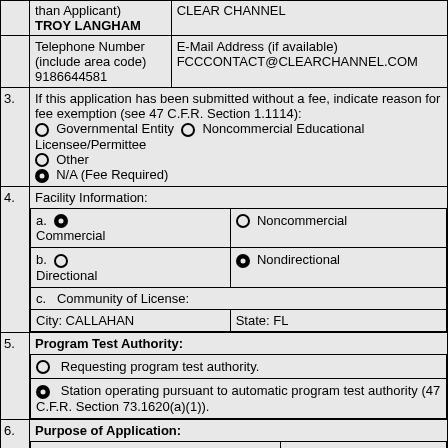| than Applicant)
TROY LANGHAM | CLEAR CHANNEL |
| Telephone Number (include area code)
9186644581 | E-Mail Address (if available)
FCCCONTACT@CLEARCHANNEL.COM |
3. If this application has been submitted without a fee, indicate reason for fee exemption (see 47 C.F.R. Section 1.1114): [radio] Governmental Entity [radio] Noncommercial Educational Licensee/Permittee [radio] Other [radio selected] N/A (Fee Required)
4. Facility Information: a. [selected] Commercial / [radio] Noncommercial; b. [radio] Directional / [selected] Nondirectional; c. Community of License: City: CALLAHAN  State: FL
5. Program Test Authority: [radio] Requesting program test authority. [selected] Station operating pursuant to automatic program test authority (47 C.F.R. Section 73.1620(a)(1)).
6. Purpose of Application: [radio] Cover construction permit (list most recent